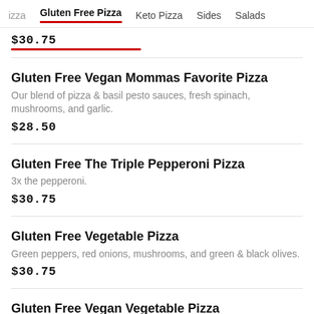izza  Gluten Free Pizza  Keto Pizza  Sides  Salads
$30.75
Gluten Free Vegan Mommas Favorite Pizza
Our blend of pizza & basil pesto sauces, fresh spinach, mushrooms, and garlic.
$28.50
Gluten Free The Triple Pepperoni Pizza
3x the pepperoni.
$30.75
Gluten Free Vegetable Pizza
Green peppers, red onions, mushrooms, and green & black olives.
$30.75
Gluten Free Vegan Vegetable Pizza